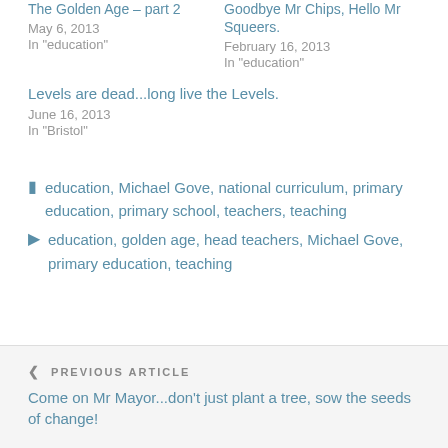The Golden Age – part 2
May 6, 2013
In "education"
Goodbye Mr Chips, Hello Mr Squeers.
February 16, 2013
In "education"
Levels are dead...long live the Levels.
June 16, 2013
In "Bristol"
education, Michael Gove, national curriculum, primary education, primary school, teachers, teaching
education, golden age, head teachers, Michael Gove, primary education, teaching
PREVIOUS ARTICLE
Come on Mr Mayor...don't just plant a tree, sow the seeds of change!